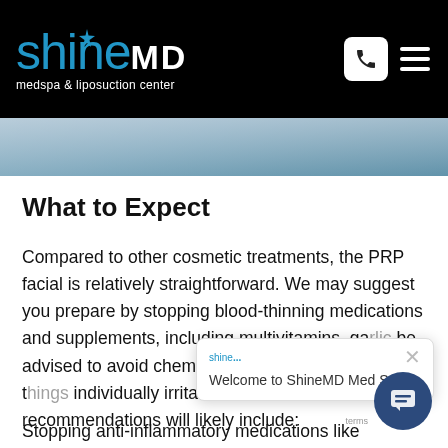ShineMD medspa & liposuction center
[Figure (photo): Partial photo strip showing a person's face/shoulder area with blue tones]
What to Expect
Compared to other cosmetic treatments, the PRP facial is relatively straightforward. We may suggest you prepare by stopping blood-thinning medications and supplements, including multivitamins, ga[rlic...] be advised to avoid chem[ical...] electrolysis, waxing, and t[hings that] individually irritate the skin. Additional recommendations will likely include:
Welcome to ShineMD Med Spa.
Stopping anti-inflammatory medications like Ibuprofen and